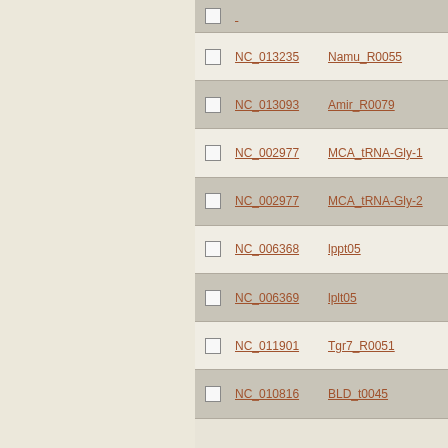|  | Accession | Name | Type |
| --- | --- | --- | --- |
| ☐ | NC_013235 | Namu_R0055 | tRNA-Gly |
| ☐ | NC_013093 | Amir_R0079 | tRNA-Gly |
| ☐ | NC_002977 | MCA_tRNA-Gly-1 | tRNA-Gly |
| ☐ | NC_002977 | MCA_tRNA-Gly-2 | tRNA-Gly |
| ☐ | NC_006368 | lppt05 | tRNA-Gly |
| ☐ | NC_006369 | lplt05 | tRNA-Gly |
| ☐ | NC_011901 | Tgr7_R0051 | tRNA-Gly |
| ☐ | NC_010816 | BLD_t0045 | tRNA-Gly |